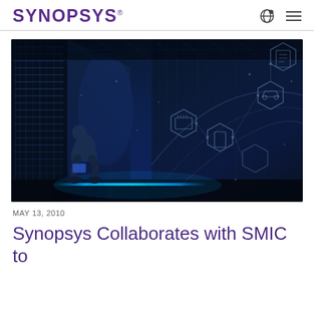SYNOPSYS®
[Figure (photo): A person crouching in a server room corridor with glowing blue floor light, overlaid with a digital hexagonal network graphic showing connected icons (car, phone, document, chip)]
MAY 13, 2010
Synopsys Collaborates with SMIC to